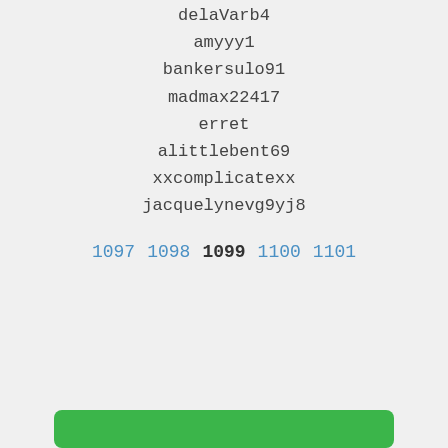delaVarb4
amyyy1
bankersulo91
madmax22417
erret
alittlebent69
xxcomplicatexx
jacquelynevg9yj8
1097  1098  1099  1100  1101